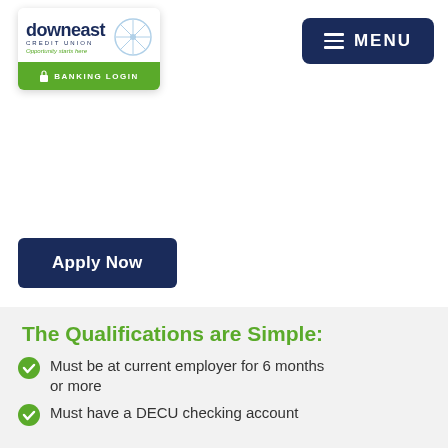[Figure (logo): Downeast Credit Union logo with compass rose icon, tagline 'Opportunity starts here', and green Banking Login button]
[Figure (screenshot): Dark navy MENU button with hamburger icon in top right]
[Figure (screenshot): Dark navy Apply Now button]
The Qualifications are Simple:
Must be at current employer for 6 months or more
Must have a DECU checking account